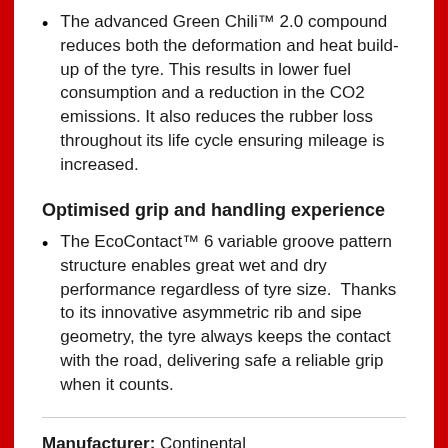The advanced Green Chili™ 2.0 compound reduces both the deformation and heat build-up of the tyre. This results in lower fuel consumption and a reduction in the CO2 emissions. It also reduces the rubber loss throughout its life cycle ensuring mileage is increased.
Optimised grip and handling experience
The EcoContact™ 6 variable groove pattern structure enables great wet and dry performance regardless of tyre size. Thanks to its innovative asymmetric rib and sipe geometry, the tyre always keeps the contact with the road, delivering safe a reliable grip when it counts.
Manufacturer: Continental
Width: 245